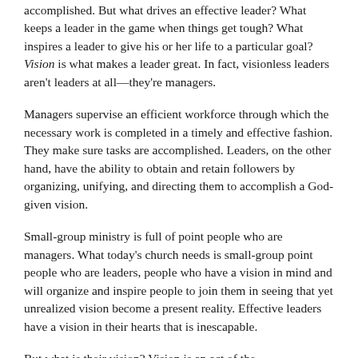accomplished. But what drives an effective leader? What keeps a leader in the game when things get tough? What inspires a leader to give his or her life to a particular goal? Vision is what makes a leader great. In fact, visionless leaders aren't leaders at all—they're managers.
Managers supervise an efficient workforce through which the necessary work is completed in a timely and effective fashion. They make sure tasks are accomplished. Leaders, on the other hand, have the ability to obtain and retain followers by organizing, unifying, and directing them to accomplish a God-given vision.
Small-group ministry is full of point people who are managers. What today's church needs is small-group point people who are leaders, people who have a vision in mind and will organize and inspire people to join them in seeing that yet unrealized vision become a present reality. Effective leaders have a vision in their hearts that is inescapable.
But what is their vision? Vision is an act of the…